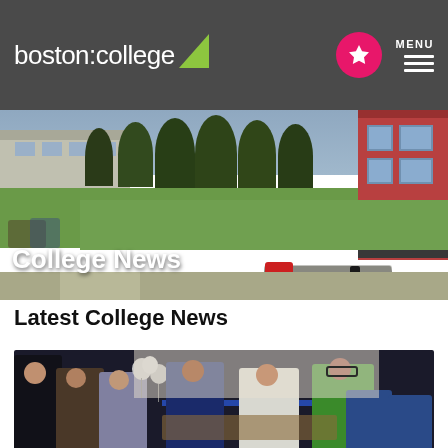boston:college
[Figure (photo): Aerial/outdoor campus photo showing buildings, trees, lawn, and road with the text 'College News' overlaid in white]
College News
Latest College News
[Figure (photo): Group photo of people at what appears to be a ribbon-cutting ceremony inside a building, with balloons visible]